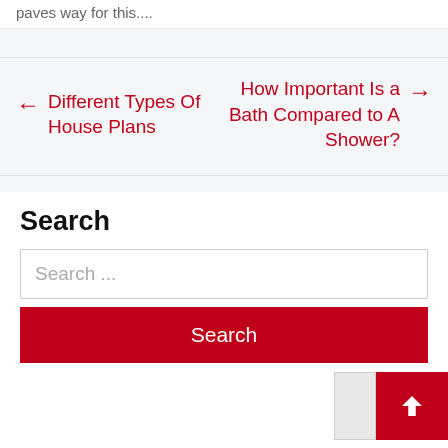paves way for this....
← Different Types Of House Plans
How Important Is a Bath Compared to A Shower? →
Search
Search ...
Search